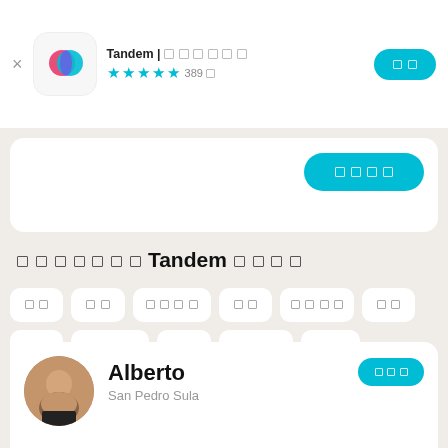[Figure (screenshot): Tandem app store listing screenshot showing app icon, title, star rating (4.5 stars, 389 reviews), install button, language tags grid, and user profile card for Alberto from San Pedro Sula]
Tandem | [tofu characters]
★★★★☆ 389[tofu]
[tofu]
[tofu][tofu][tofu][tofu]
[tofu][tofu][tofu][tofu][tofu][tofu][tofu]Tandem[tofu][tofu][tofu][tofu]
[tofu][tofu]
[tofu][tofu]
[tofu][tofu][tofu][tofu]
[tofu][tofu]
[tofu][tofu][tofu][tofu]
[tofu][tofu]
[tofu][tofu]
[tofu][tofu][tofu][tofu]
[tofu][tofu]
[tofu][tofu][tofu][tofu]
[tofu][tofu][tofu]
Alberto
San Pedro Sula